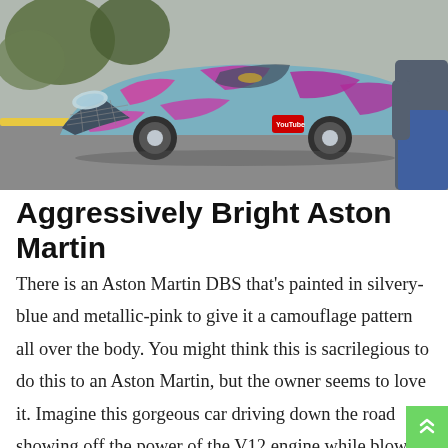[Figure (photo): A pink and silvery-blue chrome wrap Aston Martin DBS with a camouflage pattern, photographed from the front-left angle in a parking area. A YouTube logo sticker is visible on the car. A person in jeans stands partially visible on the right side.]
Aggressively Bright Aston Martin
There is an Aston Martin DBS that's painted in silvery-blue and metallic-pink to give it a camouflage pattern all over the body. You might think this is sacrilegious to do this to an Aston Martin, but the owner seems to love it. Imagine this gorgeous car driving down the road showing off the power of the V12 engine while blowing by you